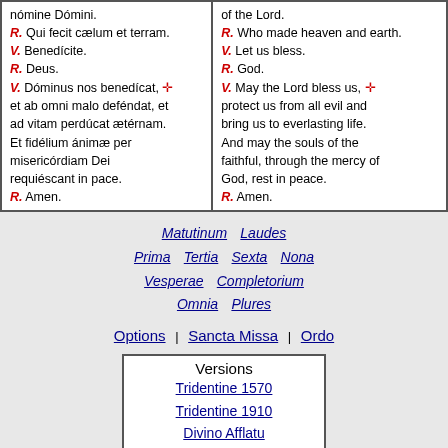nómine Dómini. R. Qui fecit cælum et terram. V. Benedícite. R. Deus. V. Dóminus nos benedícat, ✠ et ab omni malo deféndat, et ad vitam perdúcat ætérnam. Et fidélium ánimæ per misericórdiam Dei requiéscant in pace. R. Amen.
of the Lord. R. Who made heaven and earth. V. Let us bless. R. God. V. May the Lord bless us, ✠ protect us from all evil and bring us to everlasting life. And may the souls of the faithful, through the mercy of God, rest in peace. R. Amen.
Matutinum
Laudes
Prima
Tertia
Sexta
Nona
Vesperae
Completorium
Omnia
Plures
Options
Sancta Missa
Ordo
| Versions |
| --- |
| Tridentine 1570 |
| Tridentine 1910 |
| Divino Afflatu |